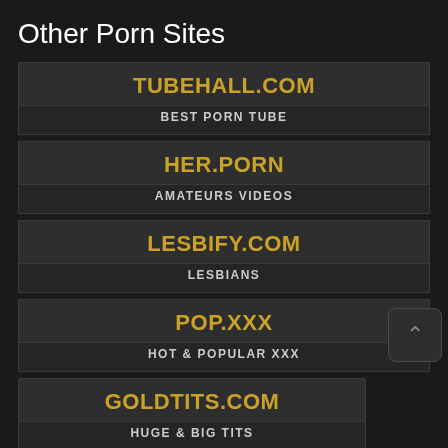Other Porn Sites
TUBEHALL.COM — BEST PORN TUBE
HER.PORN — AMATEURS VIDEOS
LESBIFY.COM — LESBIANS
POP.XXX — HOT & POPULAR XXX
GOLDTITS.COM — HUGE & BIG TITS
EBOBLACK.COM